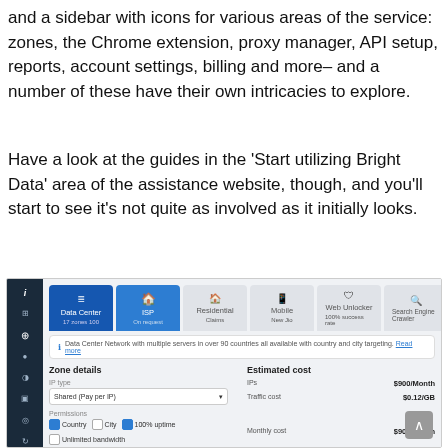and a sidebar with icons for various areas of the service: zones, the Chrome extension, proxy manager, API setup, reports, account settings, billing and more– and a number of these have their own intricacies to explore.
Have a look at the guides in the 'Start utilizing Bright Data' area of the assistance website, though, and you'll start to see it's not quite as involved as it initially looks.
[Figure (screenshot): Screenshot of Bright Data dashboard showing a sidebar with dark background and icons, a tab bar with Data Center and ISP tabs active (blue), and other tabs (Residential, Mobile, Web Unlocker, Search Engine Crawler). Below the tabs is an info bar, then a two-column form area: left column has Zone details with Type (Shared Pay per IP dropdown) and Permissions (Country, City, 100% uptime checkboxes, Unlimited bandwidth checkbox, and a pool size input field showing 1000). Right column shows Estimated cost with IPs at $900/Month, Traffic cost at $0.12/GB, and Monthly cost at $900/Month.]